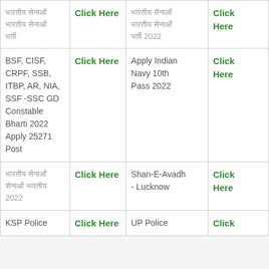| Description | Link | Description 2 | Link 2 |
| --- | --- | --- | --- |
| [Hindi text] | Click Here | [Hindi text] 2022 | Click Here |
| BSF, CISF, CRPF, SSB, ITBP, AR, NIA, SSF -SSC GD Constable Bharti 2022 Apply 25271 Post | Click Here | Apply Indian Navy 10th Pass 2022 | Click Here |
| [Hindi text] 2022 | Click Here | Shan-E-Avadh - Lucknow | Click Here |
| KSP Police | Click Here | UP Police | Click |